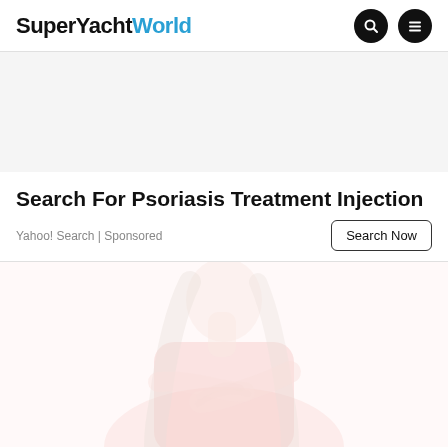SuperYachtWorld
Search For Psoriasis Treatment Injection
Yahoo! Search | Sponsored
[Figure (photo): Woman in a pink/red sleeveless top looking down, touching her chest area, faded/washed out image with white overlay]